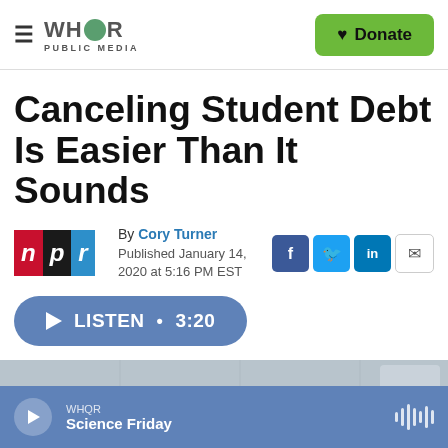WHQR PUBLIC MEDIA | Donate
Canceling Student Debt Is Easier Than It Sounds
By Cory Turner
Published January 14, 2020 at 5:16 PM EST
[Figure (logo): NPR logo with red, black, and blue letter tiles]
[Figure (infographic): Listen button showing play icon, LISTEN • 3:20]
[Figure (photo): Partial photo visible at bottom of page, appears to be an indoor ceiling/building interior]
WHQR | Science Friday